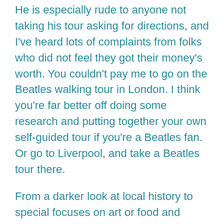He is especially rude to anyone not taking his tour asking for directions, and I've heard lots of complaints from folks who did not feel they got their money's worth. You couldn't pay me to go on the Beatles walking tour in London. I think you're far better off doing some research and putting together your own self-guided tour if you're a Beatles fan. Or go to Liverpool, and take a Beatles tour there.
From a darker look at local history to special focuses on art or food and drink, there are countless ways to explore the British capital beyond its famous sightseeing. What are your favorite London day tours? Tell me in the comments.